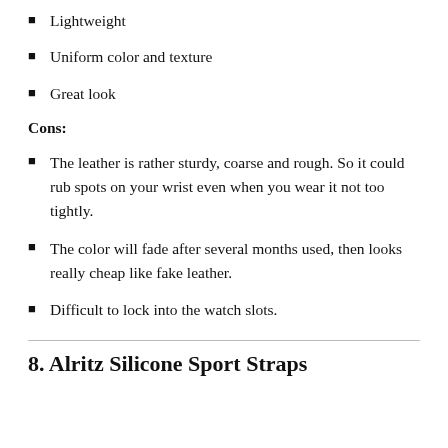Lightweight
Uniform color and texture
Great look
Cons:
The leather is rather sturdy, coarse and rough. So it could rub spots on your wrist even when you wear it not too tightly.
The color will fade after several months used, then looks really cheap like fake leather.
Difficult to lock into the watch slots.
8. Alritz Silicone Sport Straps